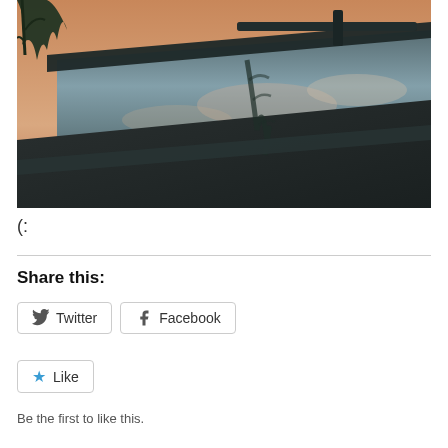[Figure (photo): Outdoor infinity pool or water feature with dark stone surround, reflecting clouds and sunset sky. A dark tree silhouette and its reflection visible in the still water surface.]
(:
Share this:
Twitter
Facebook
Like
Be the first to like this.